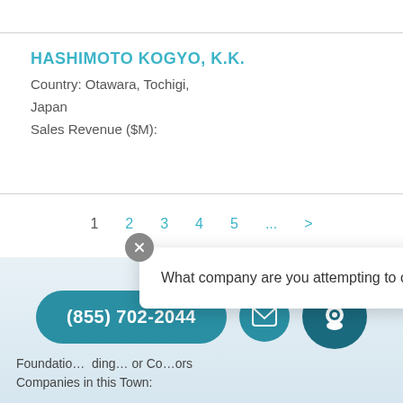HASHIMOTO KOGYO, K.K.
Country: Otawara, Tochigi,
Japan
Sales Revenue ($M):
1  2  3  4  5  ...  >
[Figure (screenshot): Tooltip popup with close button and text: What company are you attempting to contact?]
[Figure (infographic): Phone button (855) 702-2044, email icon button, chat bot icon button with badge 2]
Foundation... ding... or Co... ors
Companies in this Town: